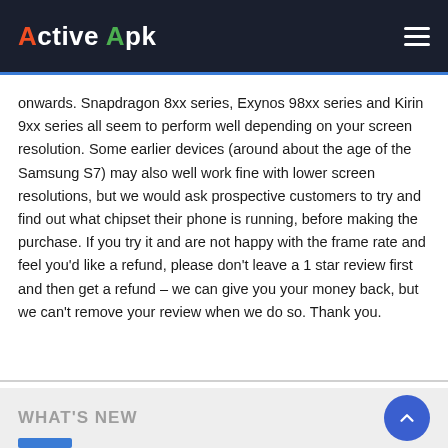Active Apk
onwards. Snapdragon 8xx series, Exynos 98xx series and Kirin 9xx series all seem to perform well depending on your screen resolution. Some earlier devices (around about the age of the Samsung S7) may also well work fine with lower screen resolutions, but we would ask prospective customers to try and find out what chipset their phone is running, before making the purchase. If you try it and are not happy with the frame rate and feel you'd like a refund, please don't leave a 1 star review first and then get a refund – we can give you your money back, but we can't remove your review when we do so. Thank you.
WHAT'S NEW